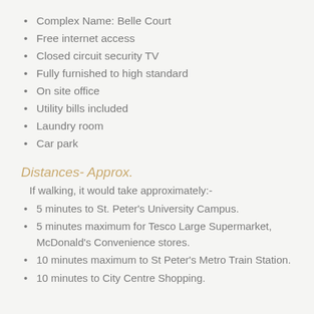Complex Name: Belle Court
Free internet access
Closed circuit security TV
Fully furnished to high standard
On site office
Utility bills included
Laundry room
Car park
Distances- Approx.
If walking, it would take approximately:-
5 minutes to St. Peter's University Campus.
5 minutes maximum for Tesco Large Supermarket, McDonald's Convenience stores.
10 minutes maximum to St Peter's Metro Train Station.
10 minutes to City Centre Shopping.